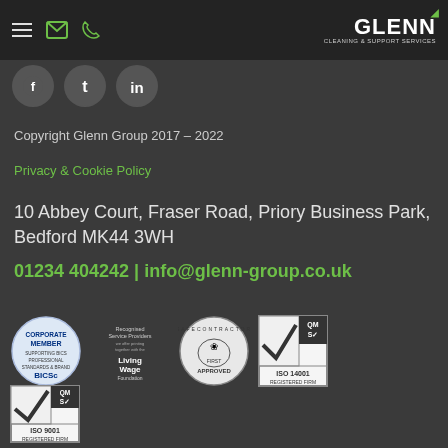[Figure (logo): Glenn Cleaning & Support Services logo with green crescent moon dot above NN]
[Figure (illustration): Social media icons: Facebook, Twitter, LinkedIn in dark circles]
Copyright Glenn Group 2017 – 2022
Privacy & Cookie Policy
10 Abbey Court, Fraser Road, Priory Business Park, Bedford MK44 3WH
01234 404242 | info@glenn-group.co.uk
[Figure (logo): BICSc Corporate Member badge - circular logo]
[Figure (logo): Recognised Service Providers and Living Wage Foundation logos]
[Figure (logo): SafeContractor Approved circular badge]
[Figure (logo): QMS ISO 14001 Registered Firm badge with checkmark]
[Figure (logo): QMS ISO 9001 Registered Firm badge with checkmark]